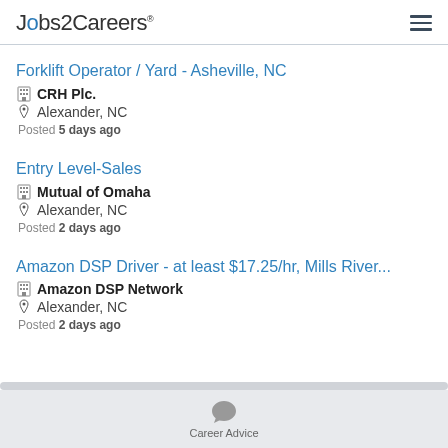Jobs2Careers
Forklift Operator / Yard - Asheville, NC
CRH Plc.
Alexander, NC
Posted 5 days ago
Entry Level-Sales
Mutual of Omaha
Alexander, NC
Posted 2 days ago
Amazon DSP Driver - at least $17.25/hr, Mills River...
Amazon DSP Network
Alexander, NC
Posted 2 days ago
Career Advice